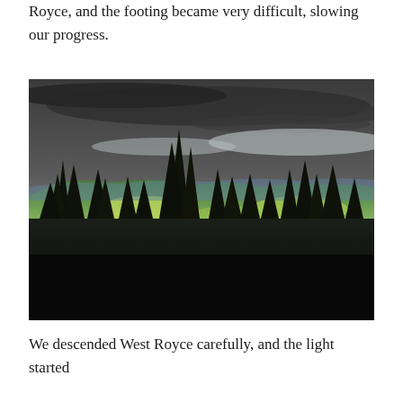Royce, and the footing became very difficult, slowing our progress.
[Figure (photo): Landscape photograph taken from a forested hilltop or mountain. Dark silhouetted conifer trees (spruce/fir) fill the foreground. Beyond them, rolling green hills glow with filtered light under a dramatic dark storm-cloud sky. A pale horizon band runs across the middle distance.]
We descended West Royce carefully, and the light started